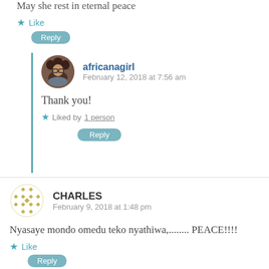May she rest in eternal peace
Like
Reply
africanagirl
February 12, 2018 at 7:56 am
Thank you!
Liked by 1 person
Reply
CHARLES
February 9, 2018 at 1:48 pm
Nyasaye mondo omedu teko nyathiwa,........ PEACE!!!!
Like
Reply